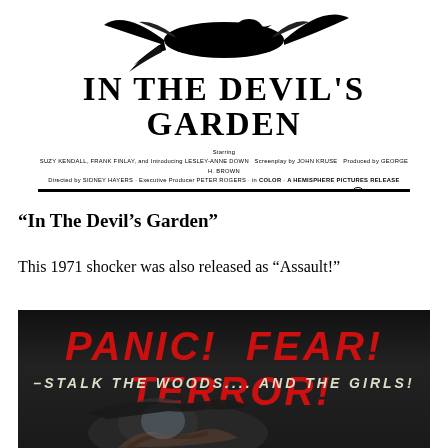[Figure (photo): Movie poster for 'In The Devil's Garden' showing bird silhouette at top, large bold title text, and production credits at bottom with rating box]
“In The Devil’s Garden”
This 1971 shocker was also released as “Assault!”
[Figure (photo): Dark movie poster with red bold italic text 'PANIC! FEAR! TERROR!' and white italic text '-STALK THE WOODS.... AND THE GIRLS!' with a shadowy figure at bottom]